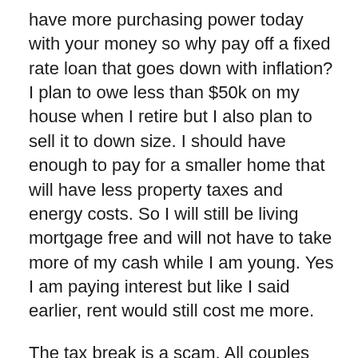have more purchasing power today with your money so why pay off a fixed rate loan that goes down with inflation? I plan to owe less than $50k on my house when I retire but I also plan to sell it to down size. I should have enough to pay for a smaller home that will have less property taxes and energy costs. So I will still be living mortgage free and will not have to take more of my cash while I am young. Yes I am paying interest but like I said earlier, rent would still cost me more.
The tax break is a scam. All couples get a $12.8k standard deduction. Only the itemized deductions above the standard deduction gains you any tax advantage. Most people cannot deduction more than a few thousand in interest which mean you get back an extra